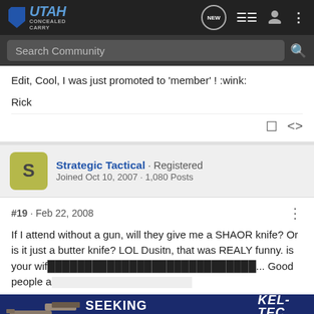Utah Concealed Carry — NEW | List | User | Menu
Search Community
Edit, Cool, I was just promoted to 'member' ! :wink:
Rick
Strategic Tactical · Registered
Joined Oct 10, 2007 · 1,080 Posts
#19 · Feb 22, 2008
If I attend without a gun, will they give me a SHAOR knife? Or is it just a butter knife? LOL Dusitn, that was REALY funny. is your wif... Good people a
[Figure (screenshot): KEL-TEC advertisement banner: SEEKING LONG RANGE RELATIONSHIP — THE CP33® PISTOL, with pistol image on left and red stripe logo on right]